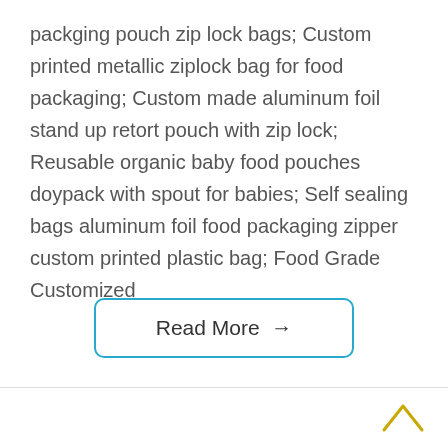packging pouch zip lock bags; Custom printed metallic ziplock bag for food packaging; Custom made aluminum foil stand up retort pouch with zip lock; Reusable organic baby food pouches doypack with spout for babies; Self sealing bags aluminum foil food packaging zipper custom printed plastic bag; Food Grade Customized
Read More →